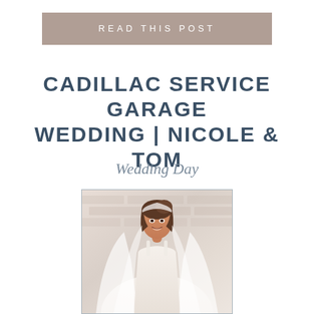READ THIS POST
CADILLAC SERVICE GARAGE WEDDING | NICOLE & TOM
Wedding Day
[Figure (photo): A bride in a white wedding dress with a veil, smiling, posed against a white/cream brick wall background. The photo has a light gray border frame.]